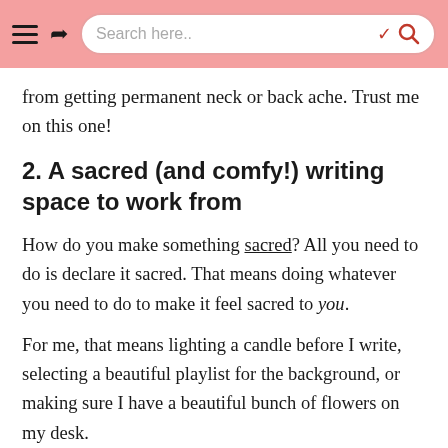Search here..
from getting permanent neck or back ache. Trust me on this one!
2. A sacred (and comfy!) writing space to work from
How do you make something sacred? All you need to do is declare it sacred. That means doing whatever you need to do to make it feel sacred to you.
For me, that means lighting a candle before I write, selecting a beautiful playlist for the background, or making sure I have a beautiful bunch of flowers on my desk.